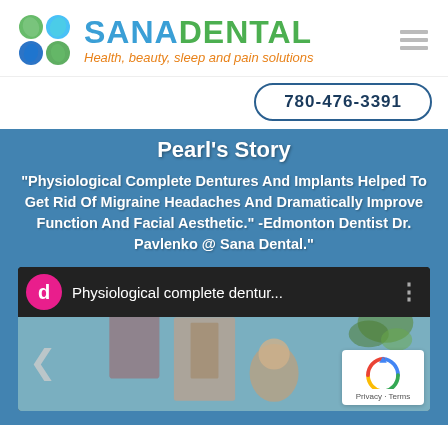[Figure (logo): Sana Dental logo with colored leaf/circle icon grid and company name]
780-476-3391
Pearl's Story
“Physiological Complete Dentures And Implants Helped To Get Rid Of Migraine Headaches And Dramatically Improve Function And Facial Aesthetic.” -Edmonton Dentist Dr. Pavlenko @ Sana Dental.”
[Figure (screenshot): YouTube video thumbnail showing 'Physiological complete dentur...' with pink avatar icon labeled 'd', video still of a woman in a room, and a reCAPTCHA badge in the corner]